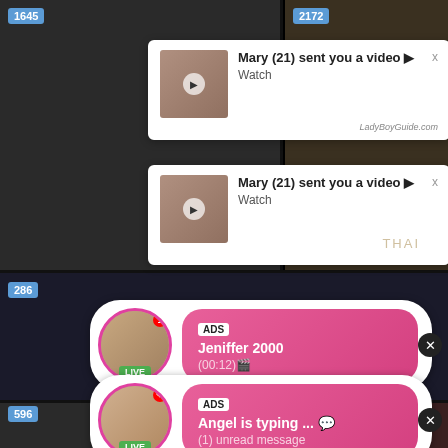[Figure (screenshot): Screenshot of adult content website with video thumbnails and overlay ad notifications. Counter badges showing 1645 and 2172 at top. Two white notification popups reading 'Mary (21) sent you a video ► Watch'. Two pink rounded ad popups: one for 'Jeniffer 2000' showing (00:12) with LIVE badge, another for 'Angel is typing...' with (1) unread message. Counter badges 286, 596, 1524 also visible.]